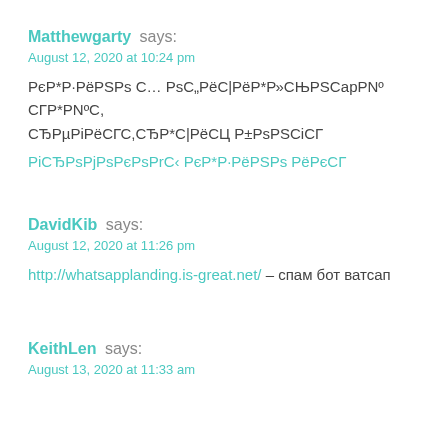Matthewgarty says:
August 12, 2020 at 10:24 pm
РєР*Р·РёРSРs С… РsС„РёС|РёР*Р»СЊРSСарPNº СГР*РNºС, СЂРµРiРёСГС,СЂР*С|РёСЦ Р±РsРSСiСГ
РiСЂРsРjРsРєРsРrС‹ РєР*Р·РёРSРs РёРєСГ
DavidKib says:
August 12, 2020 at 11:26 pm
http://whatsapplanding.is-great.net/ – спам бот ватсап
KeithLen says:
August 13, 2020 at 11:33 am